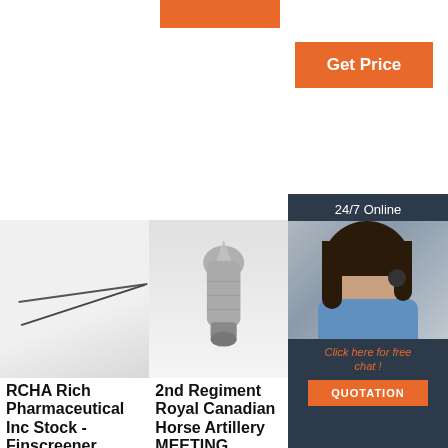[Figure (other): Orange button at top center]
[Figure (other): Get Price orange button]
[Figure (other): 24/7 Online chat panel with woman wearing headset, orange 'Click here for free chat!' text and QUOTATION button]
[Figure (photo): Photo of two thin needles/pins on white background]
[Figure (photo): Photo of a metal bolt/nozzle component on white background]
[Figure (photo): Photo of woman (partially visible, same as chat panel)]
RCHA Rich Pharmaceutical Inc Stock - Finscreener
2021-7-16 · RP-323 is a naturally occurring compo
2nd Regiment Royal Canadian Horse Artillery MEETING
Las Wi Canadian Army Aviation
2017-8-5 · e w as married to Syl via in Winnipeg i